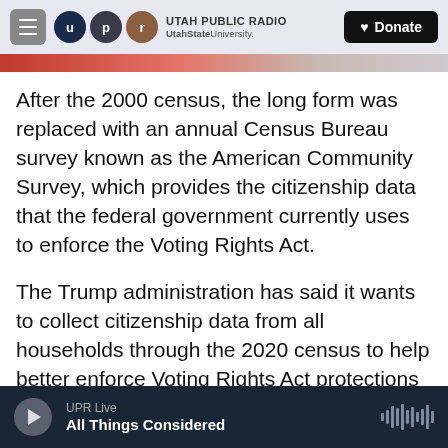Utah Public Radio — UtahStateUniversity. | Donate
After the 2000 census, the long form was replaced with an annual Census Bureau survey known as the American Community Survey, which provides the citizenship data that the federal government currently uses to enforce the Voting Rights Act.
The Trump administration has said it wants to collect citizenship data from all households through the 2020 census to help better enforce Voting Rights Act protections against discrimination of racial and language minorities. In recent decades, however, Census Bureau officials have recommended against using the census to ask all
UPR Live — All Things Considered